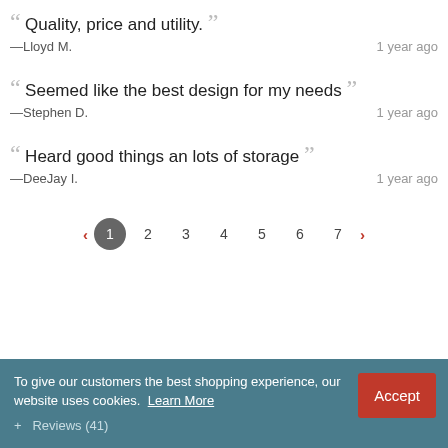“ Quality, price and utility. ”
—Lloyd M.   1 year ago
“ Seemed like the best design for my needs ”
—Stephen D.   1 year ago
“ Heard good things an lots of storage ”
—DeeJay I.   1 year ago
Pagination: 1 2 3 4 5 6 7
To give our customers the best shopping experience, our website uses cookies. Learn More
+ Reviews (41)